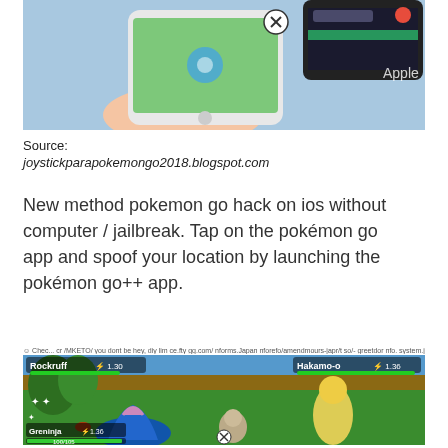[Figure (photo): Photo of a hand holding a smartphone showing Pokémon Go game, with another phone visible in background showing iOS interface. An X close button is visible.]
Source:
joystickparapokemongo2018.blogspot.com
New method pokemon go hack on ios without computer / jailbreak. Tap on the pokémon go app and spoof your location by launching the pokémon go++ app.
[Figure (screenshot): Screenshot of a Pokémon battle game showing Rockruff (Lv.30) vs Hakamo-o (Lv.36), with Greninja (Lv.36, 100/105 HP) in a grassy arena. An X close button is visible at the bottom.]